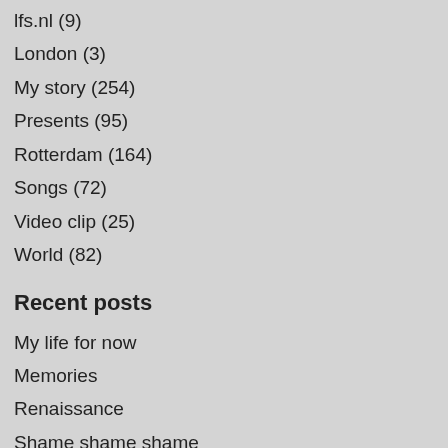lfs.nl (9)
London (3)
My story (254)
Presents (95)
Rotterdam (164)
Songs (72)
Video clip (25)
World (82)
Recent posts
My life for now
Memories
Renaissance
Shame shame shame
Work